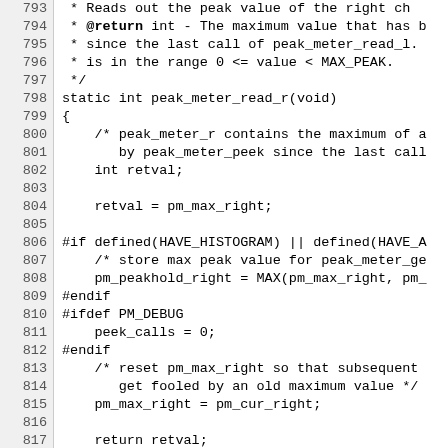[Figure (other): Source code listing showing C code for peak_meter_read_r function, lines 793-823, with line numbers on left gutter and code on right]